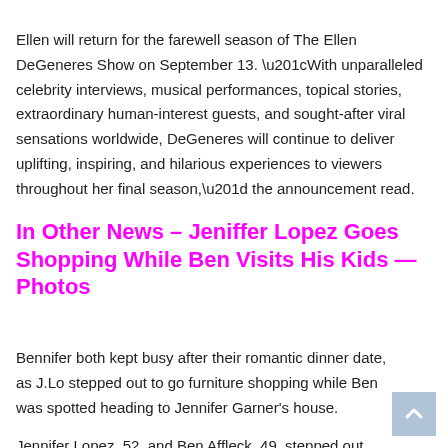Ellen will return for the farewell season of The Ellen DeGeneres Show on September 13. “With unparalleled celebrity interviews, musical performances, topical stories, extraordinary human-interest guests, and sought-after viral sensations worldwide, DeGeneres will continue to deliver uplifting, inspiring, and hilarious experiences to viewers throughout her final season,” the announcement read.
In Other News – Jeniffer Lopez Goes Shopping While Ben Visits His Kids — Photos
Bennifer both kept busy after their romantic dinner date, as J.Lo stepped out to go furniture shopping while Ben was spotted heading to Jennifer Garner’s house.
Jennifer Lopez, 52, and Ben Affleck, 49, stepped out...